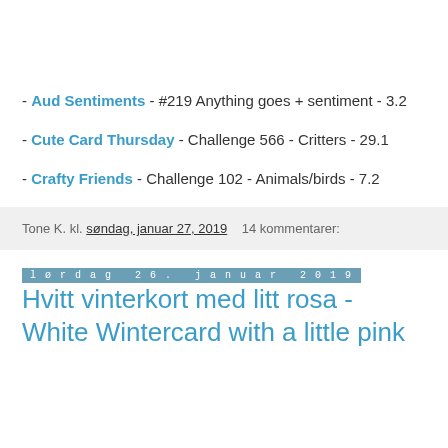- Aud Sentiments - #219 Anything goes + sentiment - 3.2
- Cute Card Thursday - Challenge 566 - Critters - 29.1
- Crafty Friends - Challenge 102 - Animals/birds - 7.2
Tone K. kl. søndag, januar 27, 2019   14 kommentarer:
lørdag 26. januar 2019
Hvitt vinterkort med litt rosa - White Wintercard with a little pink